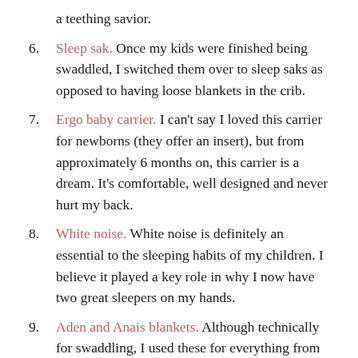a teething savior.
6. Sleep sak. Once my kids were finished being swaddled, I switched them over to sleep saks as opposed to having loose blankets in the crib.
7. Ergo baby carrier. I can't say I loved this carrier for newborns (they offer an insert), but from approximately 6 months on, this carrier is a dream. It's comfortable, well designed and never hurt my back.
8. White noise. White noise is definitely an essential to the sleeping habits of my children. I believe it played a key role in why I now have two great sleepers on my hands.
9. Aden and Anais blankets. Although technically for swaddling, I used these for everything from nursing covers, to burp cloths and as extended sun shade for strollers. Oh, and Prince George was wrapped in one as he left the hospital ;)